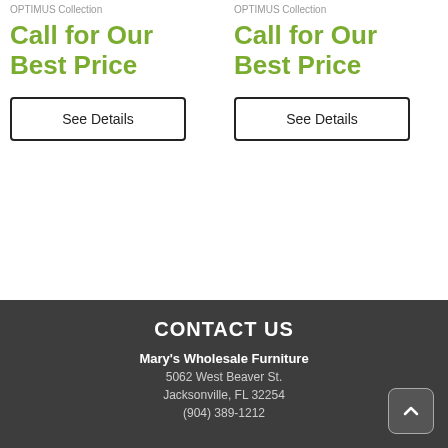OPTIMUS Collection
Call for Our Best Price
See Details
OPTIMUS Collection
Call for Our Best Price
See Details
CONTACT US
Mary's Wholesale Furniture
5062 West Beaver St.
Jacksonville, FL 32254
(904) 389-1212